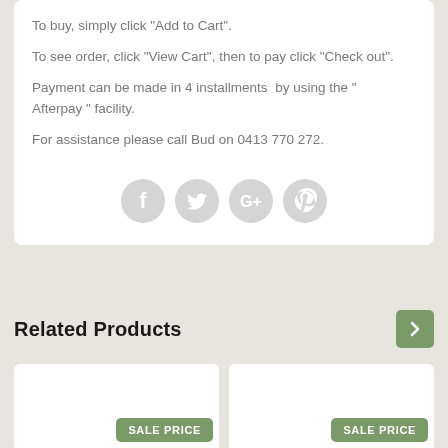To buy, simply click "Add to Cart".
To see order, click "View Cart", then to pay click "Check out".
Payment can be made in 4 installments  by using the " Afterpay " facility.
For assistance please call Bud on 0413 770 272.
[Figure (infographic): Four social media icons in light gray circles: Facebook, Twitter, Google+, Pinterest]
Related Products
[Figure (other): Two product cards with SALE PRICE badges in green]